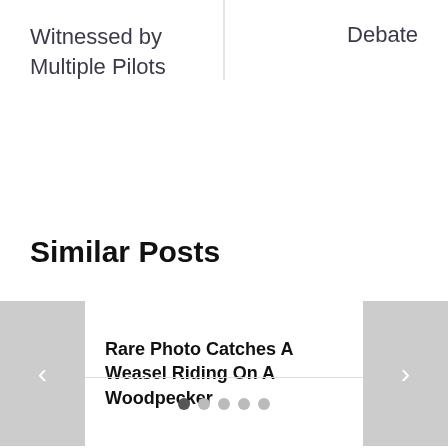Witnessed by Multiple Pilots
Debate
Similar Posts
Rare Photo Catches A Weasel Riding On A Woodpecker